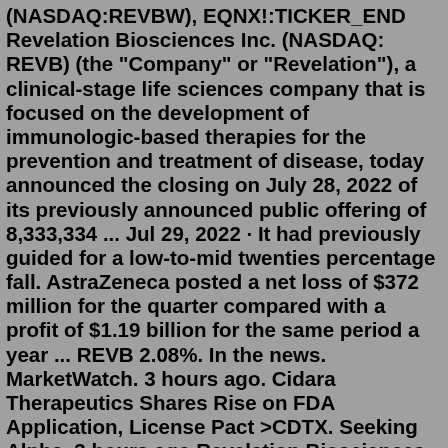(NASDAQ:REVBW), EQNX!:TICKER_END Revelation Biosciences Inc. (NASDAQ: REVB) (the "Company" or "Revelation"), a clinical-stage life sciences company that is focused on the development of immunologic-based therapies for the prevention and treatment of disease, today announced the closing on July 28, 2022 of its previously announced public offering of 8,333,334 ... Jul 29, 2022 · It had previously guided for a low-to-mid twenties percentage fall. AstraZeneca posted a net loss of $372 million for the quarter compared with a profit of $1.19 billion for the same period a year ... REVB 2.08%. In the news. MarketWatch. 3 hours ago. Cidara Therapeutics Shares Rise on FDA Application, License Pact >CDTX. Seeking Alpha. 3 hours ago.Revelation Biosciences Inc. Completes Database Lock for its Phase 1b CLEAR Clinical Study of REVTx-99b for the Treatment of Allergic Rhinitis - REVB REVB: Revelation Biosciences - Insider Transactions Get the latest Insider Transactions for Revelation Biosciences from Zacks Investment ResearchJul 29, 2022 · It had